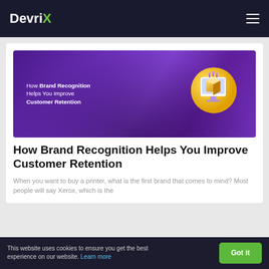DevriX
[Figure (illustration): Purple gradient banner image showing text 'How Brand Recognition Helps You Improve Customer Retention' on the left and a 3D yellow monitor icon with a box on the right]
How Brand Recognition Helps You Improve Customer Retention
When you want to buy a printer, what is the first brand that comes to mind? Most people will say Xerox, which is the
This website uses cookies to ensure you get the best experience on our website. Learn more